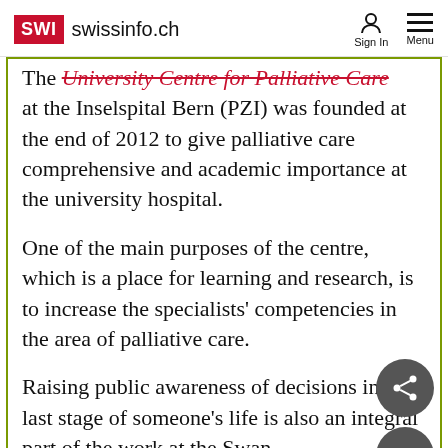SWI swissinfo.ch — Sign In  Menu
The University Centre for Palliative Care at the Inselspital Bern (PZI) was founded at the end of 2012 to give palliative care comprehensive and academic importance at the university hospital.
One of the main purposes of the centre, which is a place for learning and research, is to increase the specialists' competencies in the area of palliative care.
Raising public awareness of decisions in the last stage of someone's life is also an integral part of the work at the Swan House and part of its continuation in political…